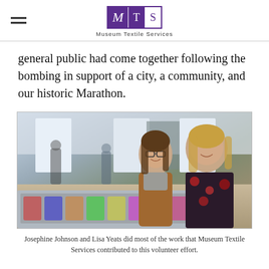Museum Textile Services
general public had come together following the bombing in support of a city, a community, and our historic Marathon.
[Figure (photo): Two women standing and smiling at the camera in front of a display of running shoes laid out on a table, in an indoor exhibition hall setting. The woman on the left wears glasses and a brown jacket with a grey scarf; the woman on the right wears a floral blouse. Panels with photographs are visible in the background.]
Josephine Johnson and Lisa Yeats did most of the work that Museum Textile Services contributed to this volunteer effort.